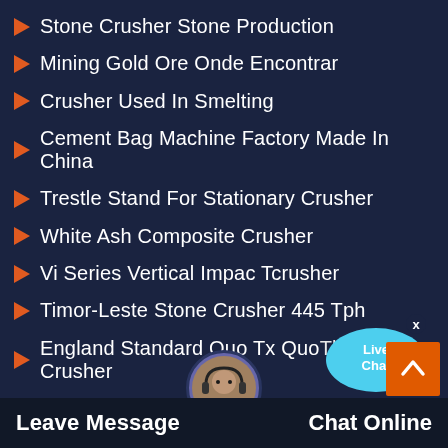Stone Crusher Stone Production
Mining Gold Ore Onde Encontrar
Crusher Used In Smelting
Cement Bag Machine Factory Made In China
Trestle Stand For Stationary Crusher
White Ash Composite Crusher
Vi Series Vertical Impac Tcrusher
Timor-Leste Stone Crusher 445 Tph
England Standard Quo Tx Quo Tby Granite Crusher
[Figure (illustration): Live Chat speech bubble widget in cyan/blue with white text 'Live Chat' and a close X button]
[Figure (illustration): Orange scroll-to-top button with white upward chevron arrow]
Leave Message   Chat Online